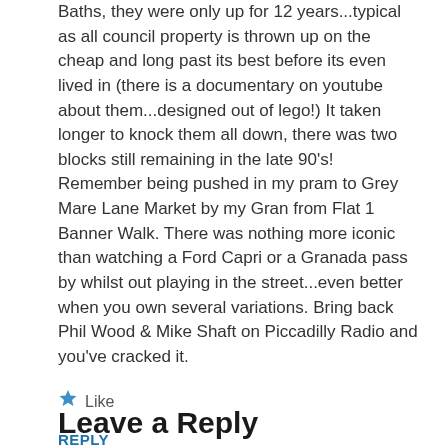Baths, they were only up for 12 years...typical as all council property is thrown up on the cheap and long past its best before its even lived in (there is a documentary on youtube about them...designed out of lego!) It taken longer to knock them all down, there was two blocks still remaining in the late 90's!
Remember being pushed in my pram to Grey Mare Lane Market by my Gran from Flat 1 Banner Walk. There was nothing more iconic than watching a Ford Capri or a Granada pass by whilst out playing in the street...even better when you own several variations. Bring back Phil Wood & Mike Shaft on Piccadilly Radio and you've cracked it.
Like
REPLY
Leave a Reply